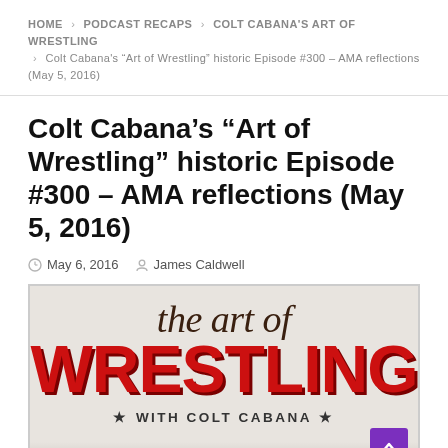HOME > PODCAST RECAPS > COLT CABANA'S ART OF WRESTLING > Colt Cabana's “Art of Wrestling” historic Episode #300 – AMA reflections (May 5, 2016)
Colt Cabana’s “Art of Wrestling” historic Episode #300 – AMA reflections (May 5, 2016)
May 6, 2016   James Caldwell
[Figure (logo): The Art of Wrestling with Colt Cabana podcast logo. Script text 'the art of' in dark brown italic over large bold red text 'WRESTLING' with dark red shadow. Below: star WITH COLT CABANA star in uppercase. Beige/light gray background. Purple scroll-to-top button in bottom right corner. Partial image of hands visible at bottom.]